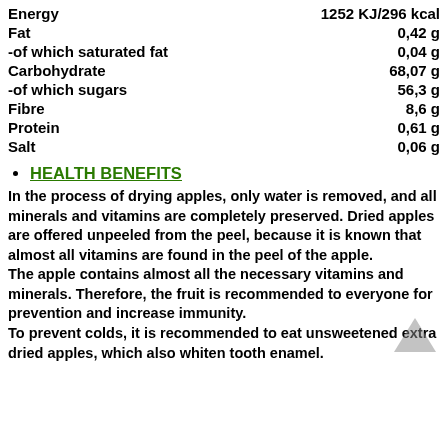| Nutrient | Amount |
| --- | --- |
| Energy | 1252 KJ/296 kcal |
| Fat | 0,42 g |
| -of which saturated fat | 0,04 g |
| Carbohydrate | 68,07 g |
| -of which sugars | 56,3 g |
| Fibre | 8,6 g |
| Protein | 0,61 g |
| Salt | 0,06 g |
HEALTH BENEFITS
In the process of drying apples, only water is removed, and all minerals and vitamins are completely preserved. Dried apples are offered unpeeled from the peel, because it is known that almost all vitamins are found in the peel of the apple.
The apple contains almost all the necessary vitamins and minerals. Therefore, the fruit is recommended to everyone for prevention and increase immunity.
To prevent colds, it is recommended to eat unsweetened extra dried apples, which also whiten tooth enamel.